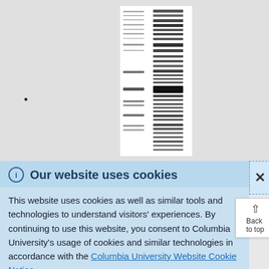[Figure (photo): Gel electrophoresis image showing protein or DNA bands in two lanes on a white background, with multiple dark horizontal bands of varying intensity and thickness distributed along the lane length.]
•
ⓘ Our website uses cookies
This website uses cookies as well as similar tools and technologies to understand visitors' experiences. By continuing to use this website, you consent to Columbia University's usage of cookies and similar technologies in accordance with the Columbia University Website Cookie Notice.